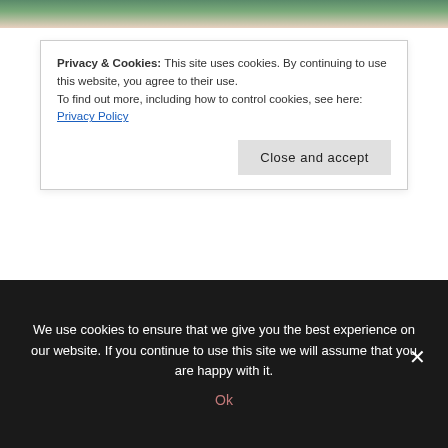[Figure (photo): Partial photo of a person visible at the top of the page]
Privacy & Cookies: This site uses cookies. By continuing to use this website, you agree to their use.
To find out more, including how to control cookies, see here: Privacy Policy
I write about homeschooling, homemaking, mothering, faith, being a pastor’s wife, marriage, and living life in the heart of Texas.
More about me.
Read More:
We use cookies to ensure that we give you the best experience on our website. If you continue to use this site we will assume that you are happy with it.
Ok